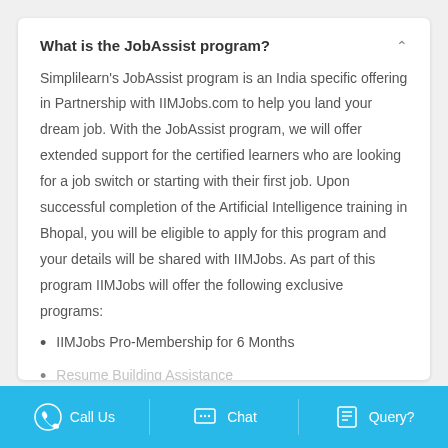What is the JobAssist program?
Simplilearn's JobAssist program is an India specific offering in Partnership with IIMJobs.com to help you land your dream job. With the JobAssist program, we will offer extended support for the certified learners who are looking for a job switch or starting with their first job. Upon successful completion of the Artificial Intelligence training in Bhopal, you will be eligible to apply for this program and your details will be shared with IIMJobs. As part of this program IIMJobs will offer the following exclusive programs:
IIMJobs Pro-Membership for 6 Months
Resume Building Assistance
Call Us  Chat  Query?